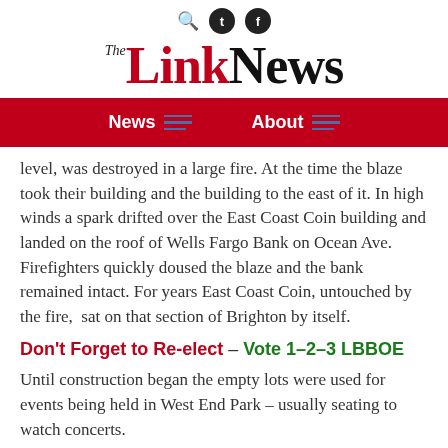The Link News — navigation header with search, social icons, logo, and nav bar (News, About)
level, was destroyed in a large fire. At the time the blaze took their building and the building to the east of it. In high winds a spark drifted over the East Coast Coin building and landed on the roof of Wells Fargo Bank on Ocean Ave. Firefighters quickly doused the blaze and the bank remained intact. For years East Coast Coin, untouched by the fire, sat on that section of Brighton by itself.
Don't Forget to Re-elect – Vote 1–2–3 LBBOE
Until construction began the empty lots were used for events being held in West End Park – usually seating to watch concerts.